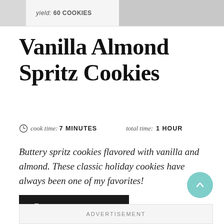[Figure (photo): Top bar with partial cookie photo on left and cookies on cooling rack on right]
yield: 60 COOKIES
Vanilla Almond Spritz Cookies
cook time: 7 MINUTES   total time: 1 HOUR
Buttery spritz cookies flavored with vanilla and almond. These classic holiday cookies have always been one of my favorites!
PRINT RECIPE
ADVERTISEMENT